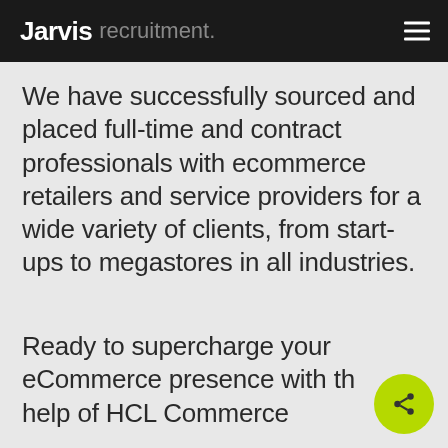Jarvis recruitment.
We have successfully sourced and placed full-time and contract professionals with ecommerce retailers and service providers for a wide variety of clients, from start-ups to megastores in all industries.
Ready to supercharge your eCommerce presence with the help of HCL Commerce